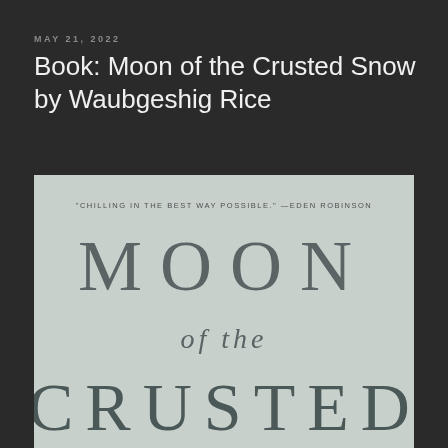MAY 21, 2022
Book: Moon of the Crusted Snow by Waubgeshig Rice
[Figure (photo): Book cover of 'Moon of the Crusted Snow' by Waubgeshig Rice. Light grayish-green background. At the top: quote '"CHILLING IN THE BEST WAY POSSIBLE." —EDEN ROBINSON'. Large spaced serif text reads 'MOON' then italic 'of the' then large spaced letters 'CRUSTED' at the bottom.]